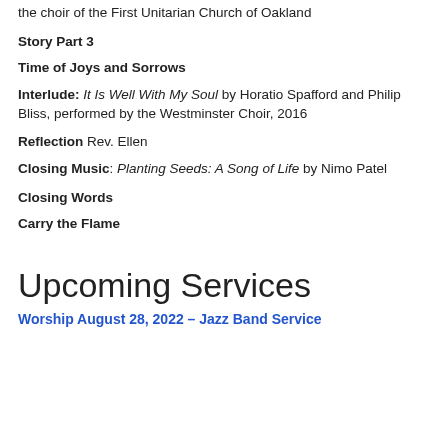the choir of the First Unitarian Church of Oakland
Story Part 3
Time of Joys and Sorrows
Interlude: It Is Well With My Soul by Horatio Spafford and Philip Bliss, performed by the Westminster Choir, 2016
Reflection Rev. Ellen
Closing Music: Planting Seeds: A Song of Life by Nimo Patel
Closing Words
Carry the Flame
Upcoming Services
Worship August 28, 2022 – Jazz Band Service